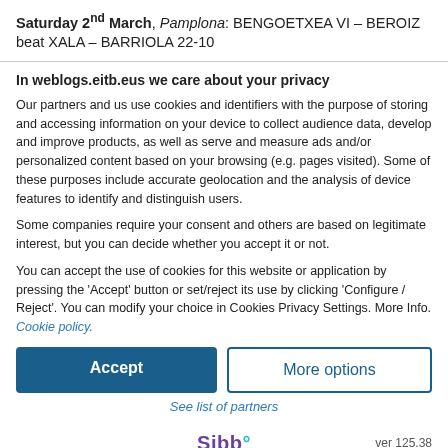Saturday 2nd March, Pamplona: BENGOETXEA VI – BEROIZ beat XALA – BARRIOLA 22-10
In weblogs.eitb.eus we care about your privacy
Our partners and us use cookies and identifiers with the purpose of storing and accessing information on your device to collect audience data, develop and improve products, as well as serve and measure ads and/or personalized content based on your browsing (e.g. pages visited). Some of these purposes include accurate geolocation and the analysis of device features to identify and distinguish users.
Some companies require your consent and others are based on legitimate interest, but you can decide whether you accept it or not.
You can accept the use of cookies for this website or application by pressing the 'Accept' button or set/reject its use by clicking 'Configure / Reject'. You can modify your choice in Cookies Privacy Settings. More Info. Cookie policy.
Accept
More options
See list of partners
Sibb° ver 125.38